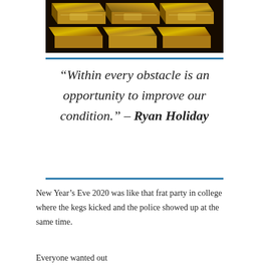[Figure (photo): Stack of gold bars/ingots photographed from above at an angle, showing reflective gold surfaces.]
“Within every obstacle is an opportunity to improve our condition.” – Ryan Holiday
New Year’s Eve 2020 was like that frat party in college where the kegs kicked and the police showed up at the same time.
Everyone wanted out